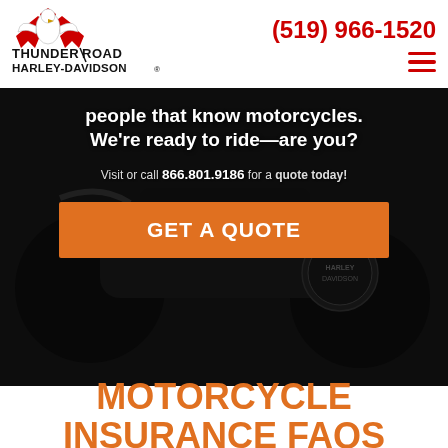(519) 966-1520
[Figure (logo): Thunder Road Harley-Davidson logo with eagle and maple leaves]
people that know motorcycles. We're ready to ride—are you?
Visit or call 866.801.9186 for a quote today!
GET A QUOTE
MOTORCYCLE INSURANCE FAQS